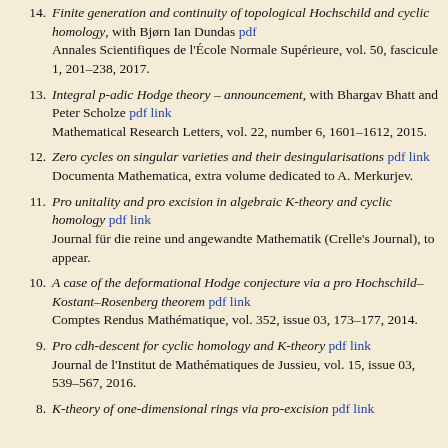14. Finite generation and continuity of topological Hochschild and cyclic homology, with Bjørn Ian Dundas pdf
Annales Scientifiques de l'École Normale Supérieure, vol. 50, fascicule 1, 201–238, 2017.
13. Integral p-adic Hodge theory – announcement, with Bhargav Bhatt and Peter Scholze pdf link
Mathematical Research Letters, vol. 22, number 6, 1601–1612, 2015.
12. Zero cycles on singular varieties and their desingularisations pdf link
Documenta Mathematica, extra volume dedicated to A. Merkurjev.
11. Pro unitality and pro excision in algebraic K-theory and cyclic homology pdf link
Journal für die reine und angewandte Mathematik (Crelle's Journal), to appear.
10. A case of the deformational Hodge conjecture via a pro Hochschild–Kostant–Rosenberg theorem pdf link
Comptes Rendus Mathématique, vol. 352, issue 03, 173–177, 2014.
9. Pro cdh-descent for cyclic homology and K-theory pdf link
Journal de l'Institut de Mathématiques de Jussieu, vol. 15, issue 03, 539–567, 2016.
8. K-theory of one-dimensional rings via pro-excision pdf link